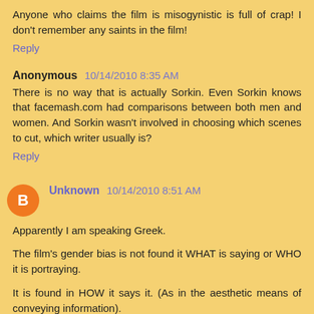Anyone who claims the film is misogynistic is full of crap! I don't remember any saints in the film!
Reply
Anonymous  10/14/2010 8:35 AM
There is no way that is actually Sorkin. Even Sorkin knows that facemash.com had comparisons between both men and women. And Sorkin wasn't involved in choosing which scenes to cut, which writer usually is?
Reply
Unknown  10/14/2010 8:51 AM
Apparently I am speaking Greek.
The film's gender bias is not found it WHAT is saying or WHO it is portraying.
It is found in HOW it says it. (As in the aesthetic means of conveying information).